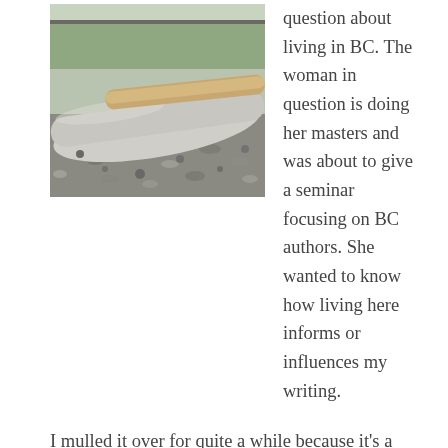[Figure (photo): Photograph of large driftwood logs on a gravel/pebble beach with grass visible in the background]
question about living in BC. The woman in question is doing her masters and was about to give a seminar focusing on BC authors. She wanted to know how living here informs or influences my writing.
I mulled it over for quite a while because it's a surprisingly difficult question to answer. When I responded, I gave her some context, explaining that though I was born on Vancouver Island, I grew up both in Victoria and Vancouver, spent a year in Edmonton as a young teen and five years living in Winnipeg when I was in my early twenties. When I finally returned to the island in my late twenties, it really was like coming